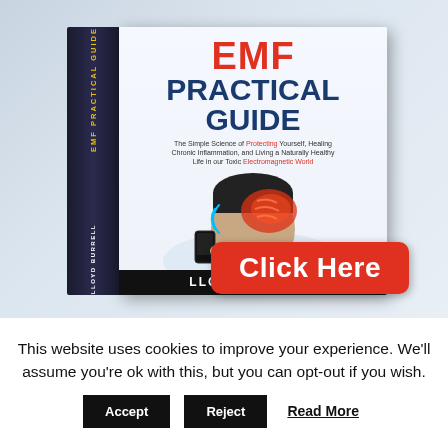[Figure (photo): Book cover of 'EMF Practical Guide' by Lloyd Burrell, showing a 3D book with red EMF title text, blue 'Practical Guide' subtitle, an illustration of a person holding a phone to their head with glowing red brain. A red 'Click Here' button overlays the bottom right.]
This website uses cookies to improve your experience. We'll assume you're ok with this, but you can opt-out if you wish.
Accept
Reject
Read More